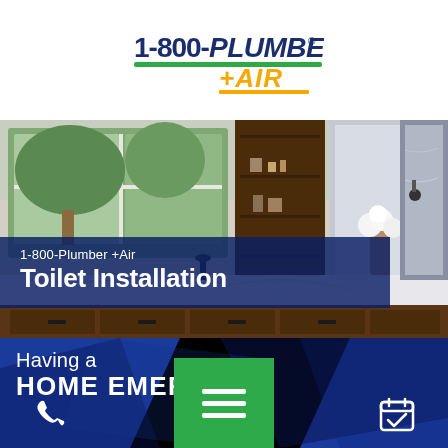[Figure (logo): 1-800-PLUMBER +AIR logo with green underline and yellow +AIR text]
[Figure (photo): Luxury bathroom interior with dark wood cabinetry, white marble countertops, large windows with trees, white floral arrangement, and mirror]
1-800-Plumber +Air
Toilet Installation
Having a
HOME EMERGENC
[Figure (infographic): Green hamburger menu button with three white bars, phone icon on left, calendar/booking icon on right, on dark blue geometric background]